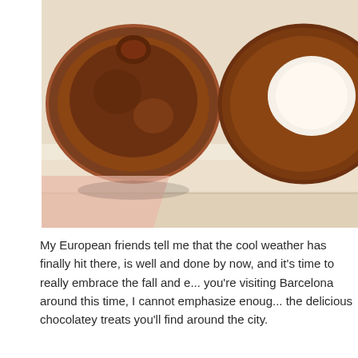[Figure (photo): Close-up photo of two round wooden/clay bowls or cups viewed from above, on a light background. Left bowl appears darker brown with a knob/lid, right bowl is brown with a white/cream center visible.]
My European friends tell me that the cool weather has finally hit there, is well and done by now, and it's time to really embrace the fall and e... you're visiting Barcelona around this time, I cannot emphasize enough the delicious chocolatey treats you'll find around the city.
[Figure (photo): Interior of a chocolate shop or cafe in Barcelona. Shows a plate of churros on the left, a dark door/window with frosted glass panel in the center, and a yellow sign reading 'CHOCO' on the right with pastries and croissants visible.]